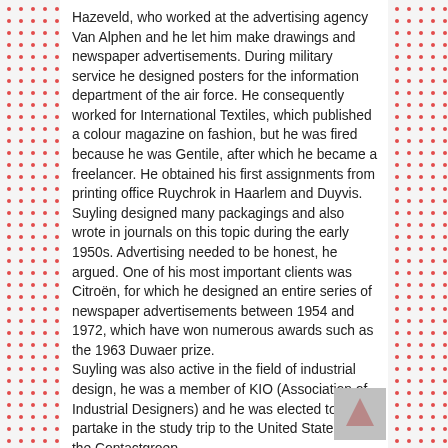Hazeveld, who worked at the advertising agency Van Alphen and he let him make drawings and newspaper advertisements. During military service he designed posters for the information department of the air force. He consequently worked for International Textiles, which published a colour magazine on fashion, but he was fired because he was Gentile, after which he became a freelancer. He obtained his first assignments from printing office Ruychrok in Haarlem and Duyvis. Suyling designed many packagings and also wrote in journals on this topic during the early 1950s. Advertising needed to be honest, he argued. One of his most important clients was Citroën, for which he designed an entire series of newspaper advertisements between 1954 and 1972, which have won numerous awards such as the 1963 Duwaer prize.
Suyling was also active in the field of industrial design, he was a member of KIO (Association of Industrial Designers) and he was elected to partake in the study trip to the United States by the Contactgroep
[Figure (photo): Small thumbnail photo, partially visible in bottom-right corner of content area, grayed out]